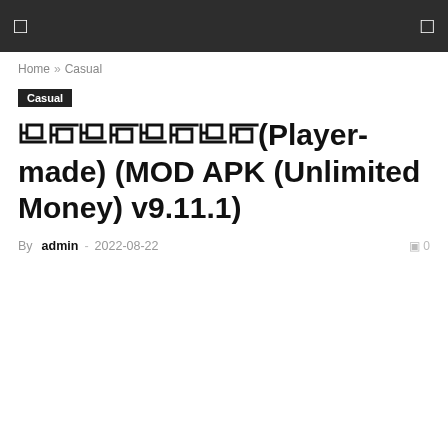☰  ☐
Home » Casual
Casual
꧁꧂꧁꧂꧁꧂꧁꧂(Player-made) (MOD APK (Unlimited Money) v9.11.1)
By admin - 2022-08-22  🔲 0